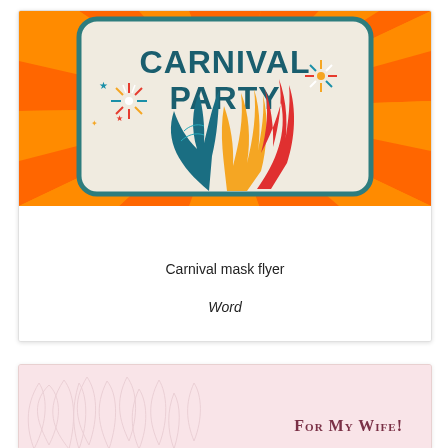[Figure (illustration): Carnival party flyer thumbnail showing colorful feathers, fireworks, and 'CARNIVAL PARTY' text on a beige background with orange sunburst and teal border]
Carnival mask flyer
Word
[Figure (illustration): Pink floral background card with text 'For My Wife!' in small caps dark rose color]